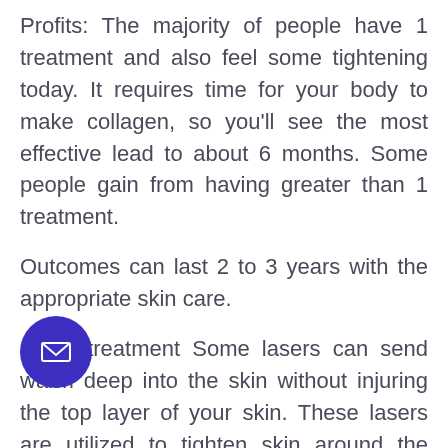Profits: The majority of people have 1 treatment and also feel some tightening today. It requires time for your body to make collagen, so you'll see the most effective lead to about 6 months. Some people gain from having greater than 1 treatment.
Outcomes can last 2 to 3 years with the appropriate skin care.
Laser treatment Some lasers can send warm deep into the skin without injuring the top layer of your skin. These lasers are utilized to tighten skin around the body as well as can be particularly practical for tightening loose skin on belly as well as upper arms.
its: You may need 3 to 5 treatments to get outcomes, which progressively show up between